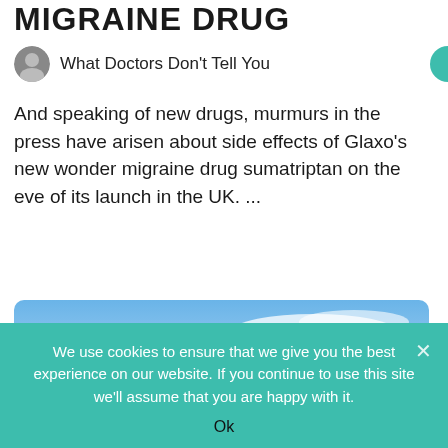MIGRAINE DRUG
What Doctors Don't Tell You
And speaking of new drugs, murmurs in the press have arisen about side effects of Glaxo's new wonder migraine drug sumatriptan on the eve of its launch in the UK. ...
[Figure (photo): Stacked stones on a beach with blue sky and clouds in the background. A black rounded badge overlay reads 'JUL 02'.]
We use cookies to ensure that we give you the best experience on our website. If you continue to use this site we'll assume that you are happy with it.
Ok